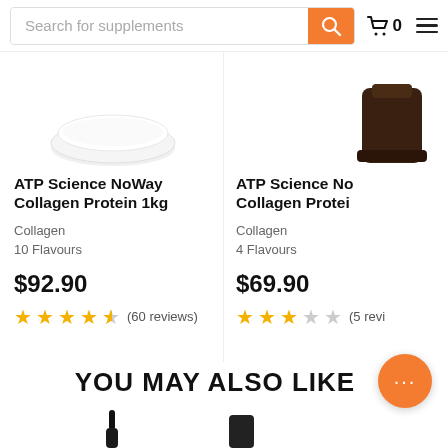Search for supplements
ATP Science NoWay Collagen Protein 1kg
Collagen
10 Flavours
$92.90
(60 reviews)
ATP Science No... Collagen Protei...
Collagen
4 Flavours
$69.90
(5 reviews)
YOU MAY ALSO LIKE